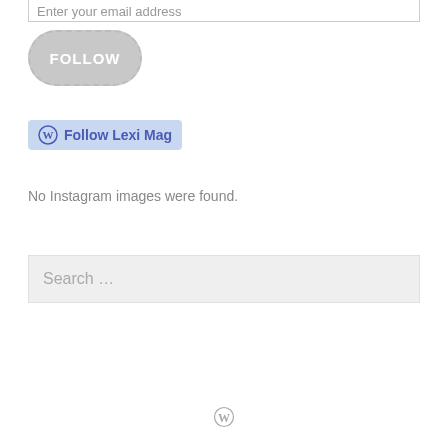Enter your email address
[Figure (other): FOLLOW button with rounded dashed border and gray background]
[Figure (other): Follow Lexi Mag WordPress follow button with blue background and WordPress logo]
No Instagram images were found.
Search …
WordPress logo icon